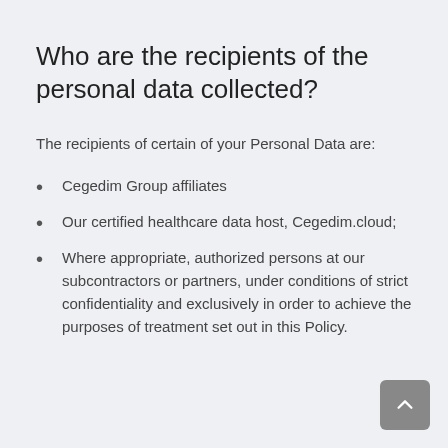Who are the recipients of the personal data collected?
The recipients of certain of your Personal Data are:
Cegedim Group affiliates
Our certified healthcare data host, Cegedim.cloud;
Where appropriate, authorized persons at our subcontractors or partners, under conditions of strict confidentiality and exclusively in order to achieve the purposes of treatment set out in this Policy.